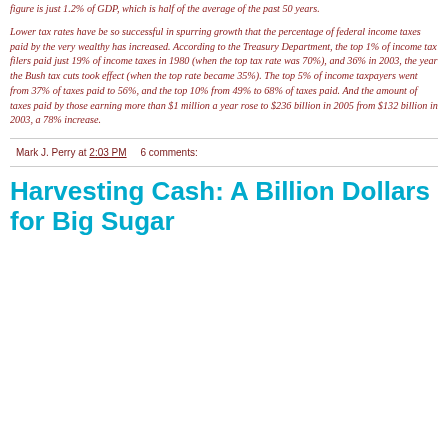figure is just 1.2% of GDP, which is half of the average of the past 50 years.
Lower tax rates have be so successful in spurring growth that the percentage of federal income taxes paid by the very wealthy has increased. According to the Treasury Department, the top 1% of income tax filers paid just 19% of income taxes in 1980 (when the top tax rate was 70%), and 36% in 2003, the year the Bush tax cuts took effect (when the top rate became 35%). The top 5% of income taxpayers went from 37% of taxes paid to 56%, and the top 10% from 49% to 68% of taxes paid. And the amount of taxes paid by those earning more than $1 million a year rose to $236 billion in 2005 from $132 billion in 2003, a 78% increase.
Mark J. Perry at 2:03 PM   6 comments:
Harvesting Cash: A Billion Dollars for Big Sugar